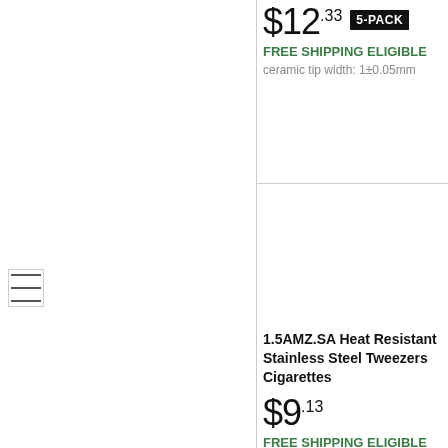$12.33 5-PACK
FREE SHIPPING ELIGIBLE
ceramic tip width: 1±0.05mm
[Figure (other): Hamburger menu icon with three horizontal lines inside a bordered box]
1.5AMZ.SA Heat Resistant Stainless Steel Tweezers Cigarettes
$9.13
FREE SHIPPING ELIGIBLE
SHIPS NEXT DAY
ceramic round tip